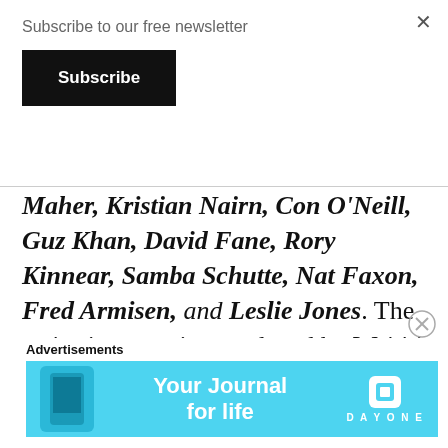Subscribe to our free newsletter
Subscribe
Maher, Kristian Nairn, Con O’Neill, Guz Khan, David Fane, Rory Kinnear, Samba Schutte, Nat Faxon, Fred Armisen, and Leslie Jones. The series is executive produced by Waititi, Jenkins, Garrett Basch, and Dan Halsted.
[Figure (other): Advertisement banner for Day One journal app with cyan/blue background, phone image, text 'Your Journal for life' and Day One logo]
Advertisements